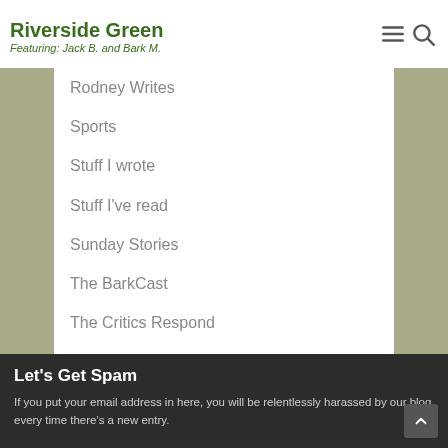Riverside Green — Featuring: Jack B. and Bark M.
Rodney Writes
Sports
Stuff I wrote
Stuff I've read
Sunday Stories
The BarkCast
The Critics Respond
Travel
Uncategorized
Vignettes
Weekly Roundup
What I think
Jack Explains It All
Let's Get Spam
If you put your email address in here, you will be relentlessly harassed by our blog every time there's a new entry.